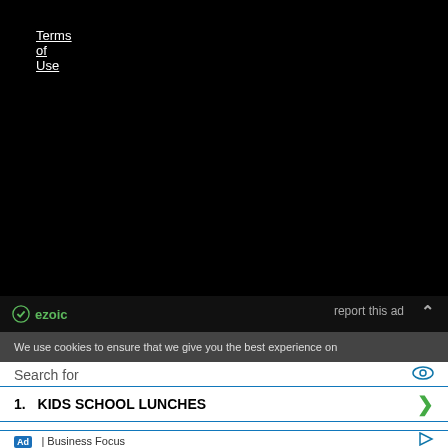Terms of Use
[Figure (screenshot): Large black area representing a dark webpage background or video player]
ezoic   report this ad
We use cookies to ensure that we give you the best experience on
Search for
1.  KIDS SCHOOL LUNCHES
2.  HEALTHY DELI MEATS
Ad | Business Focus